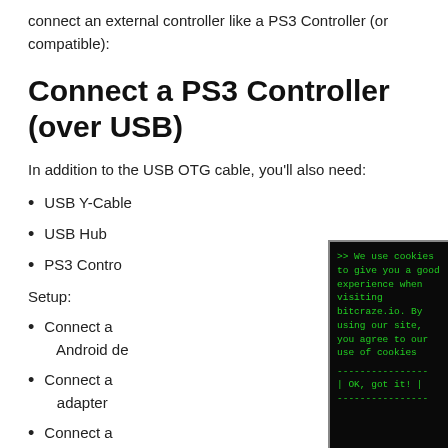connect an external controller like a PS3 Controller (or compatible):
Connect a PS3 Controller (over USB)
In addition to the USB OTG cable, you'll also need:
USB Y-Cable
USB Hub
PS3 Contro[ller]
Setup:
Connect a [USB OTG cable to your] Android de[vice]
Connect a [USB Hub to the OTG] adapter
Connect a [PS3 controller to]
[Figure (screenshot): Cookie consent popup overlay with green monospace text on black background reading: '>> We use cookies to give you a good experience when visiting bitcraze.io. By using our site, you agree to our use of cookies' followed by a separator line and '| OK, got it! |' button between separator lines]